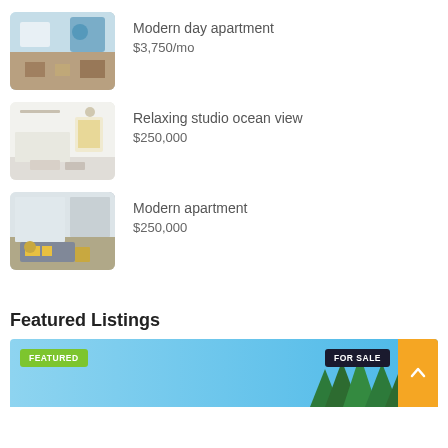[Figure (photo): Interior photo of a modern day apartment with blue decorations]
Modern day apartment
$3,750/mo
[Figure (photo): Interior photo of a relaxing studio with ocean view, white furniture]
Relaxing studio ocean view
$250,000
[Figure (photo): Interior photo of a modern apartment with grey sofa and yellow pillows]
Modern apartment
$250,000
Featured Listings
[Figure (photo): Featured listing banner with blue sky, trees, FEATURED and FOR SALE badges, and orange scroll-to-top button]